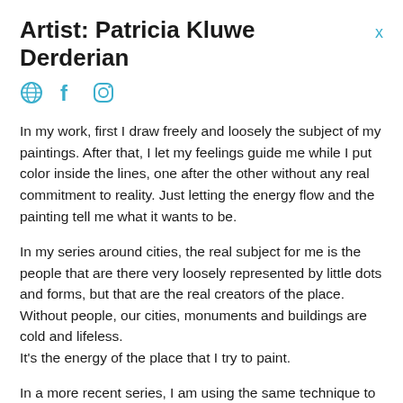Artist: Patricia Kluwe Derderian  ×
[Figure (other): Three social media icons: globe/website icon, Facebook icon, Instagram icon, all in teal/blue color]
In my work, first I draw freely and loosely the subject of my paintings. After that, I let my feelings guide me while I put color inside the lines, one after the other without any real commitment to reality. Just letting the energy flow and the painting tell me what it wants to be.
In my series around cities, the real subject for me is the people that are there very loosely represented by little dots and forms, but that are the real creators of the place. Without people, our cities, monuments and buildings are cold and lifeless.
It's the energy of the place that I try to paint.
In a more recent series, I am using the same technique to paint